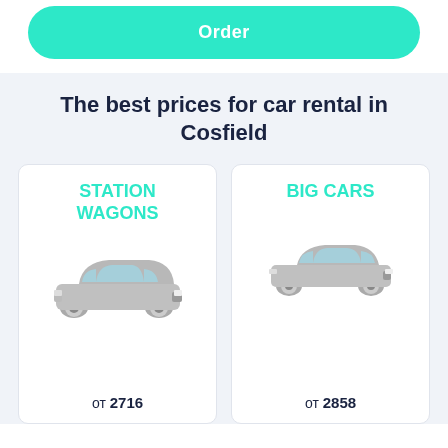Order
The best prices for car rental in Cosfield
[Figure (illustration): Station wagon car illustration with category card showing title STATION WAGONS and price от 2716]
[Figure (illustration): Big sedan car illustration with category card showing title BIG CARS and price от 2858]